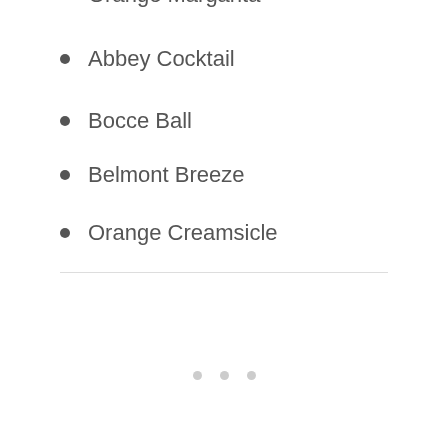Orange Margarita
Abbey Cocktail
Bocce Ball
Belmont Breeze
Orange Creamsicle